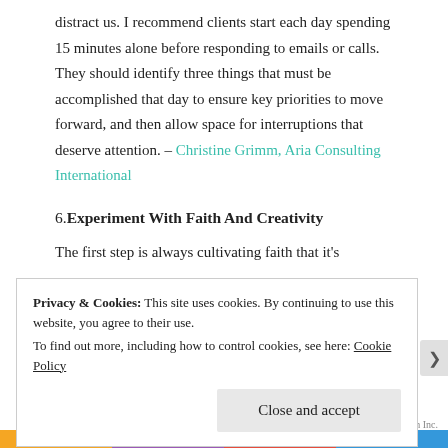distract us. I recommend clients start each day spending 15 minutes alone before responding to emails or calls. They should identify three things that must be accomplished that day to ensure key priorities to move forward, and then allow space for interruptions that deserve attention. – Christine Grimm, Aria Consulting International
6. Experiment With Faith And Creativity
The first step is always cultivating faith that it's
Privacy & Cookies: This site uses cookies. By continuing to use this website, you agree to their use.
To find out more, including how to control cookies, see here: Cookie Policy